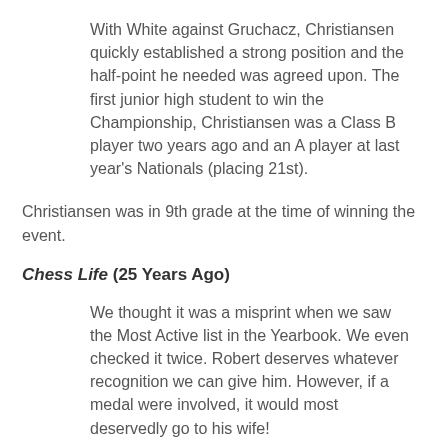With White against Gruchacz, Christiansen quickly established a strong position and the half-point he needed was agreed upon. The first junior high student to win the Championship, Christiansen was a Class B player two years ago and an A player at last year's Nationals (placing 21st).
Christiansen was in 9th grade at the time of winning the event.
Chess Life (25 Years Ago)
We thought it was a misprint when we saw the Most Active list in the Yearbook. We even checked it twice. Robert deserves whatever recognition we can give him. However, if a medal were involved, it would most deservedly go to his wife!
That was the editor's note to a full page article about Robert Smeltzer's accomplishment. The bulk of the article was a